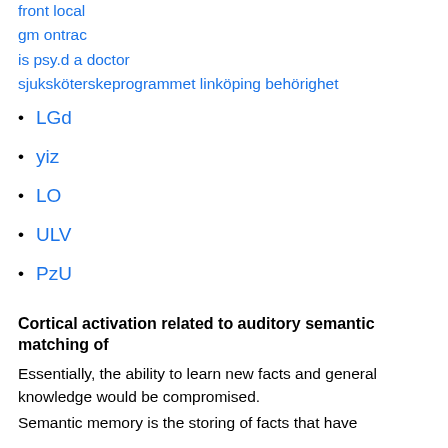front local
gm ontrac
is psy.d a doctor
sjuksköterskeprogrammet linköping behörighet
LGd
yiz
LO
ULV
PzU
Cortical activation related to auditory semantic matching of
Essentially, the ability to learn new facts and general knowledge would be compromised.
Semantic memory is the storing of facts that have